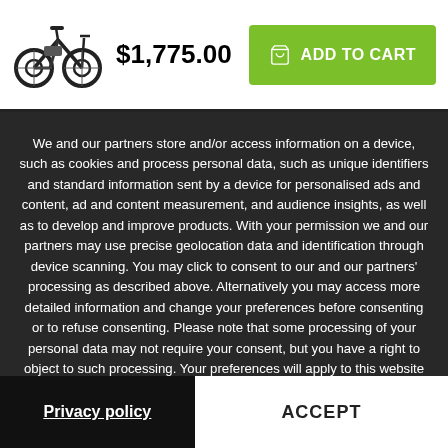[Figure (illustration): Electric bicycle icon/thumbnail image]
$1,775.00
ADD TO CART
We and our partners store and/or access information on a device, such as cookies and process personal data, such as unique identifiers and standard information sent by a device for personalised ads and content, ad and content measurement, and audience insights, as well as to develop and improve products. With your permission we and our partners may use precise geolocation data and identification through device scanning. You may click to consent to our and our partners' processing as described above. Alternatively you may access more detailed information and change your preferences before consenting or to refuse consenting. Please note that some processing of your personal data may not require your consent, but you have a right to object to such processing. Your preferences will apply to this website only. You can change your preferences at any time by returning to this site or visit our privacy policy.
Privacy policy
ACCEPT